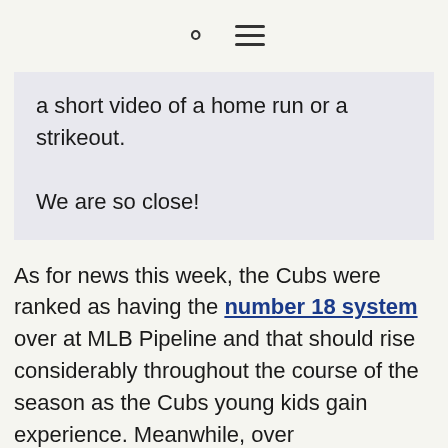🔍 ☰
a short video of a home run or a strikeout.

We are so close!
As for news this week, the Cubs were ranked as having the number 18 system over at MLB Pipeline and that should rise considerably throughout the course of the season as the Cubs young kids gain experience. Meanwhile, over